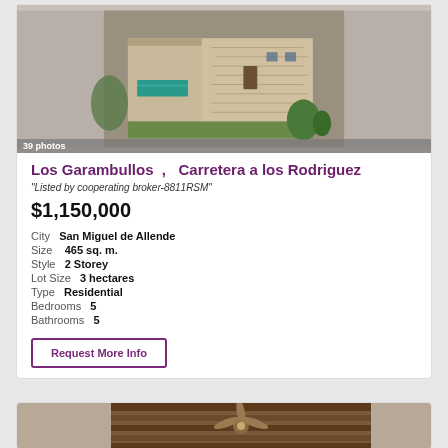[Figure (photo): Aerial view of a modern stone house with a long rectangular swimming pool, surrounded by desert vegetation and agave plants]
39 photos
Los Garambullos , Carretera a los Rodriguez
"Listed by cooperating broker-8811RSM"
$1,150,000
City  San Miguel de Allende
Size  465 sq. m.
Style  2 Storey
Lot Size  3 hectares
Type  Residential
Bedrooms  5
Bathrooms  5
Request More Info
[Figure (photo): Interior ceiling view with wooden beams and a ceiling fan]